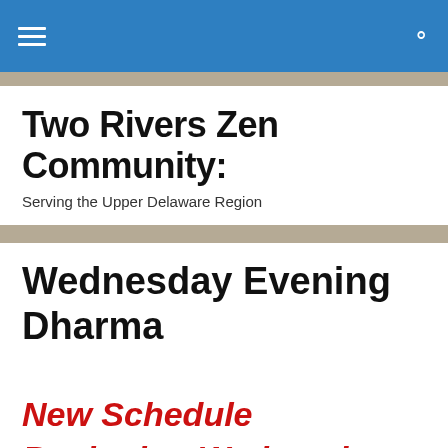Two Rivers Zen Community
Two Rivers Zen Community:
Serving the Upper Delaware Region
Wednesday Evening Dharma
New Schedule Beginning Wednesday, September, 7th